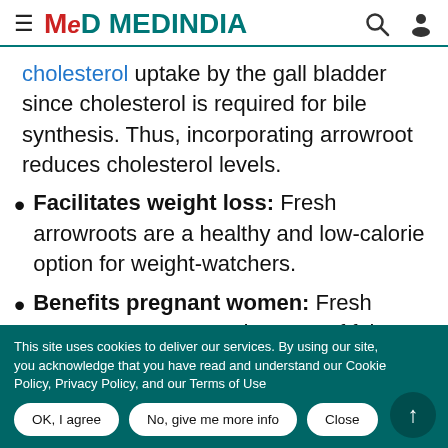MEDINDIA
cholesterol uptake by the gall bladder since cholesterol is required for bile synthesis. Thus, incorporating arrowroot reduces cholesterol levels.
Facilitates weight loss: Fresh arrowroots are a healthy and low-calorie option for weight-watchers.
Benefits pregnant women: Fresh arrowroots are a good source of folates,
This site uses cookies to deliver our services. By using our site, you acknowledge that you have read and understand our Cookie Policy, Privacy Policy, and our Terms of Use. OK, I agree | No, give me more info | Close